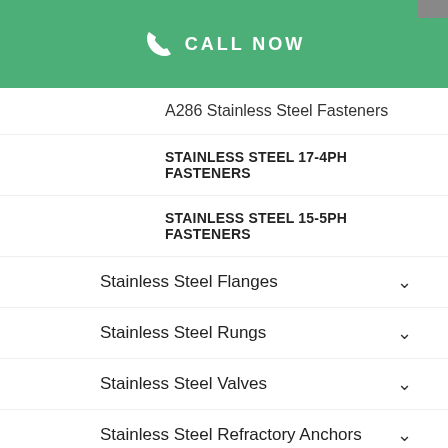CALL NOW
A286 Stainless Steel Fasteners
STAINLESS STEEL 17-4PH FASTENERS
STAINLESS STEEL 15-5PH FASTENERS
Stainless Steel Flanges
Stainless Steel Rungs
Stainless Steel Valves
Stainless Steel Refractory Anchors
Stainless Steel Electropolished Fittings